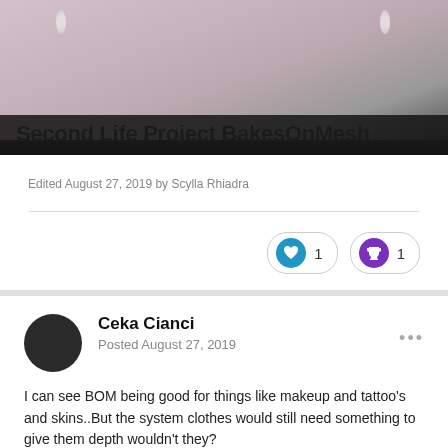[Figure (photo): Banner image showing a person with earrings and the title 'Second Life Project BakesOnMesh' overlaid at the bottom on a dark background.]
Edited August 27, 2019 by Scylla Rhiadra
❤ 1   🏆 1
Ceka Cianci
Posted August 27, 2019
I can see BOM being good for things like makeup and tattoo's and skins..But the system clothes would still need something to give them depth wouldn't they?
If I put on a system outfit I have in my inventory ,it's just going to wrap my